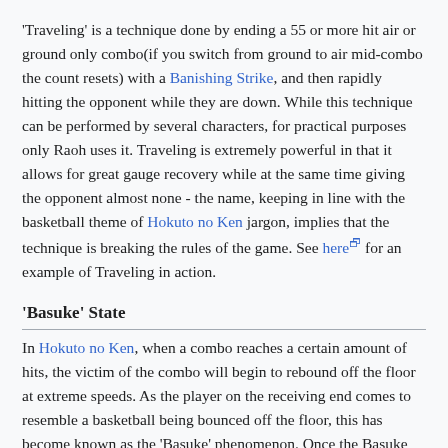'Traveling' is a technique done by ending a 55 or more hit air or ground only combo(if you switch from ground to air mid-combo the count resets) with a Banishing Strike, and then rapidly hitting the opponent while they are down. While this technique can be performed by several characters, for practical purposes only Raoh uses it. Traveling is extremely powerful in that it allows for great gauge recovery while at the same time giving the opponent almost none - the name, keeping in line with the basketball theme of Hokuto no Ken jargon, implies that the technique is breaking the rules of the game. See here for an example of Traveling in action.
'Basuke' State
In Hokuto no Ken, when a combo reaches a certain amount of hits, the victim of the combo will begin to rebound off the floor at extreme speeds. As the player on the receiving end comes to resemble a basketball being bounced off the floor, this has become known as the 'Basuke' phenomenon. Once the Basuke state has been reached it becomes extremely easy to continue the combo infinitely until the other player dies. The combo types explained